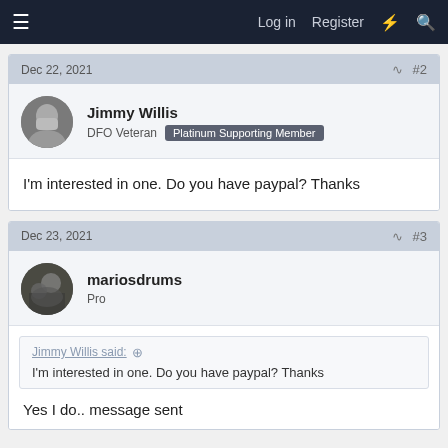Log in  Register
Dec 22, 2021  #2
Jimmy Willis
DFO Veteran  Platinum Supporting Member
I'm interested in one. Do you have paypal? Thanks
Dec 23, 2021  #3
mariosdrums
Pro
Jimmy Willis said:
I'm interested in one. Do you have paypal? Thanks
Yes I do.. message sent